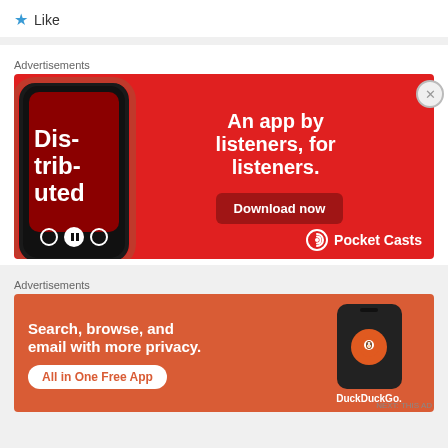★ Like
Advertisements
[Figure (illustration): Pocket Casts advertisement: red background with a smartphone showing a podcast episode called 'Dis-trib-uted', text reading 'An app by listeners, for listeners.' with a 'Download now' button and Pocket Casts logo.]
Advertisements
[Figure (illustration): DuckDuckGo advertisement: orange-red background with text 'Search, browse, and email with more privacy.' and 'All in One Free App' button, with a smartphone showing DuckDuckGo logo.]